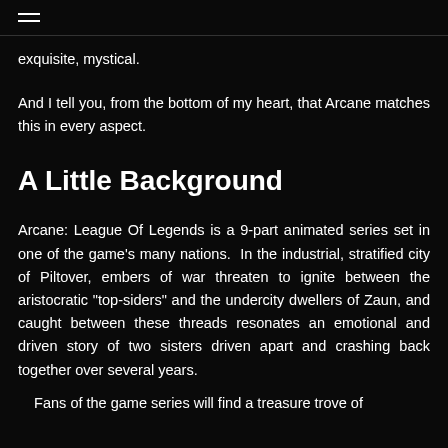≡
exquisite, mystical.
And I tell you, from the bottom of my heart, that Arcane matches this in every aspect.
A Little Background
Arcane: League Of Legends is a 9-part animated series set in one of the game's many nations.  In the industrial, stratified city of Piltover, embers of war threaten to ignite between the aristocratic "top-siders" and the undercity dwellers of Zaun, and caught between these threads resonates an emotional and driven story of two sisters driven apart and crashing back together over several years.
Fans of the game series will find a treasure trove of